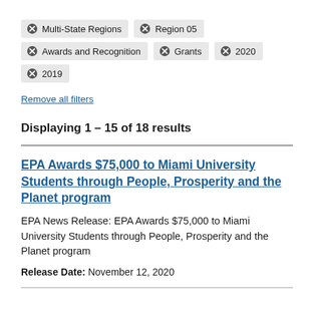Multi-State Regions
Region 05
Awards and Recognition
Grants
2020
2019
Remove all filters
Displaying 1 – 15 of 18 results
EPA Awards $75,000 to Miami University Students through People, Prosperity and the Planet program
EPA News Release: EPA Awards $75,000 to Miami University Students through People, Prosperity and the Planet program
Release Date: November 12, 2020